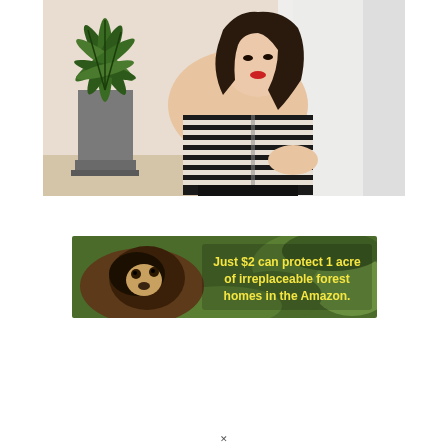[Figure (photo): A young woman with long dark hair wearing a black and white striped off-shoulder top, seated near a window with sheer curtains. A large potted palm plant is visible to her left.]
[Figure (photo): Advertisement banner showing a brown monkey (tamarin or similar primate) in a green forest setting. Yellow bold text overlay reads: 'Just $2 can protect 1 acre of irreplaceable forest homes in the Amazon.']